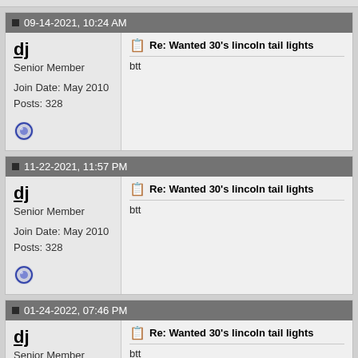09-14-2021, 10:24 AM
dj
Senior Member
Join Date: May 2010
Posts: 328
Re: Wanted 30's lincoln tail lights
btt
11-22-2021, 11:57 PM
dj
Senior Member
Join Date: May 2010
Posts: 328
Re: Wanted 30's lincoln tail lights
btt
01-24-2022, 07:46 PM
dj
Senior Member
Join Date: May 2010
Posts: 328
Re: Wanted 30's lincoln tail lights
btt